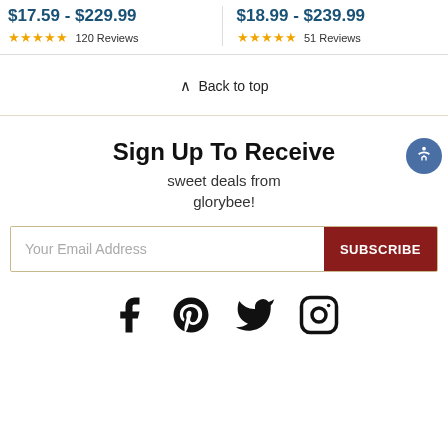$17.59 - $229.99 ★★★★★ 120 Reviews
$18.99 - $239.99 ★★★★★ 51 Reviews
Back to top
Sign Up To Receive sweet deals from glorybee!
[Figure (other): Email subscription form with input field and SUBSCRIBE button]
[Figure (other): Social media icons: Facebook, Pinterest, Twitter, Instagram]